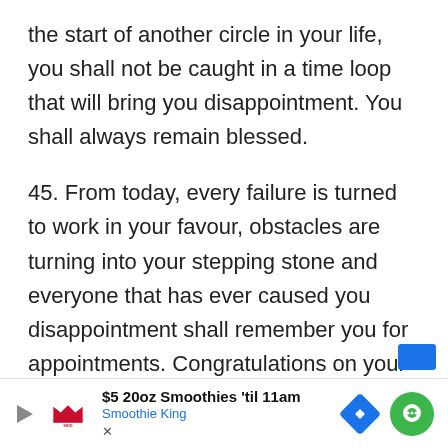the start of another circle in your life, you shall not be caught in a time loop that will bring you disappointment. You shall always remain blessed.
45. From today, every failure is turned to work in your favour, obstacles are turning into your stepping stone and everyone that has ever caused you disappointment shall remember you for appointments. Congratulations on your birthday.
46. There is nothing holding you from succeeding this day, the labours of your hands are blessed and all that you set your heart to do shall prosper. Happy birthday.